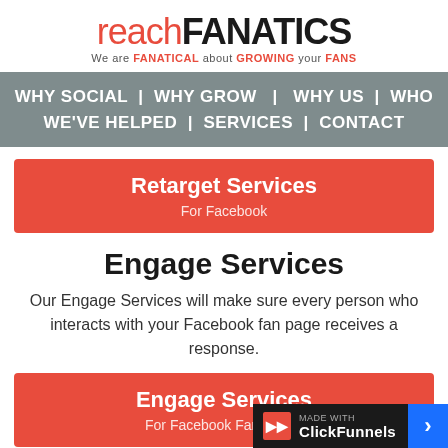[Figure (logo): reachFANATICS logo with tagline: We are FANATICAL about GROWING your FANS]
WHY SOCIAL | WHY GROW | WHY US | WHO WE'VE HELPED | SERVICES | CONTACT
Retarget Services
For Facebook
Engage Services
Our Engage Services will make sure every person who interacts with your Facebook fan page receives a response.
Engage Services
For Facebook Fan Pages
made with ClickFunnels